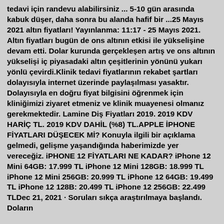tedavi için randevu alabilirsiniz ... 5-10 gün arasında kabuk düşer, daha sonra bu alanda hafif bir ...25 Mayıs 2021 altın fiyatları! Yayınlanma: 11:17 - 25 Mayıs 2021. Altın fiyatları bugün de ons altının etkisi ile yükselişine devam etti. Dolar kurunda gerçekleşen artış ve ons altının yükselişi iç piyasadaki altın çeşitlerinin yönünü yukarı yönlü çevirdi.Klinik tedavi fiyatlarının rekabet şartları dolayısıyla internet üzerinde paylaşılması yasaktır. Dolayısıyla en doğru fiyat bilgisini öğrenmek için kliniğimizi ziyaret etmeniz ve klinik muayenesi olmanız gerekmektedir. Lamine Diş Fiyatları 2019. 2019 KDV HARİÇ TL. 2019 KDV DAHİL (%8) TL.APPLE İPHONE FİYATLARI DÜŞECEK Mİ? Konuyla ilgili bir açıklama gelmedi, gelişme yaşandığında haberimizde yer vereceğiz. iPHONE 12 FİYATLARI NE KADAR? iPhone 12 Mini 64GB: 17.999 TL iPhone 12 Mini 128GB: 18.999 TL iPhone 12 Mini 256GB: 20.999 TL iPhone 12 64GB: 19.499 TL iPhone 12 128B: 20.499 TL iPhone 12 256GB: 22.499 TLDec 21, 2021 · Soruları sıkça araştırılmaya başlandı. Doların